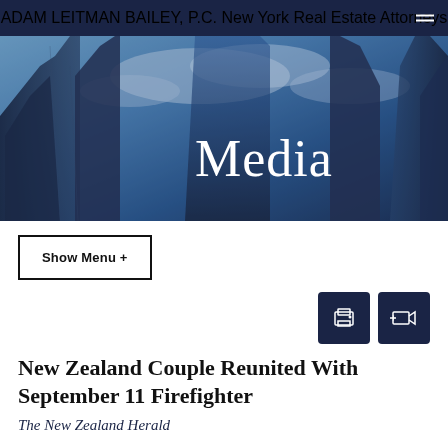ADAM LEITMAN BAILEY, P.C. NEW YORK REAL ESTATE ATTORNEYS
[Figure (photo): Upward view of tall glass skyscrapers against a blue sky with clouds, overlaid with the word 'Media' in large white serif text]
Show Menu +
[Figure (infographic): Two dark navy square icon buttons: a print icon and an email/forward icon]
New Zealand Couple Reunited With September 11 Firefighter
The New Zealand Herald